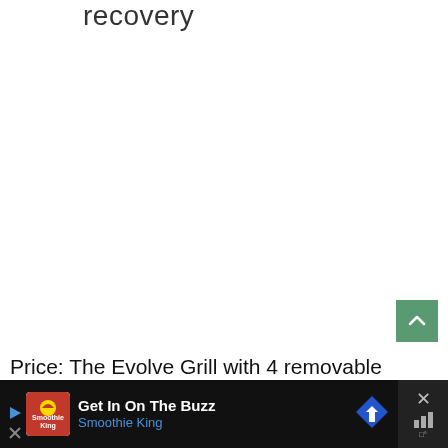recovery
Price: The Evolve Grill with 4 removable plates is available for $129.99, and you choose between three different George Foreman Evolve Grill sets to
[Figure (screenshot): Green scroll-to-top button with upward chevron arrow]
[Figure (screenshot): Advertisement banner for Smoothie King - Get In On The Buzz, with navigation icon and close button]